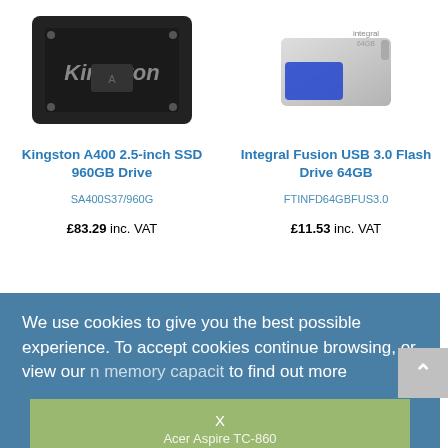[Figure (photo): Kingston A400 SSD drive product photo - dark rectangular drive]
[Figure (photo): Integral Fusion USB 3.0 Flash Drive 64GB - silver metallic USB drive]
Kingston A400 2.5-inch SSD 960GB Drive
Integral Fusion USB 3.0 Flash Drive 64GB
SA400S37/960G
FTINFD64GBFUS3.0
£83.29 inc. VAT
£11.53 inc. VAT
We use cookies to give you the best possible experience. To accept cookies continue browsing, or view our to find out more
Device Specifications
Make + Model
Acer Aspire TC-860
Device Type
Desktop